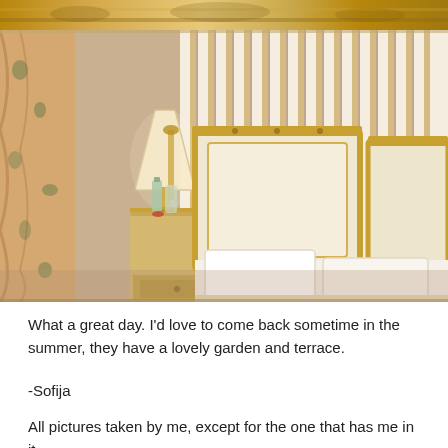[Figure (photo): Partial top strip of a decorative painting or mural with warm golden/amber tones]
[Figure (photo): Hotel room interior with ornate gold-framed bed headboard, striped cream and gold wall panels, floral curtains, bedside table with lamp and water bottles]
What a great day. I'd love to come back sometime in the summer, they have a lovely garden and terrace.
-Sofija
All pictures taken by me, except for the one that has me in it.